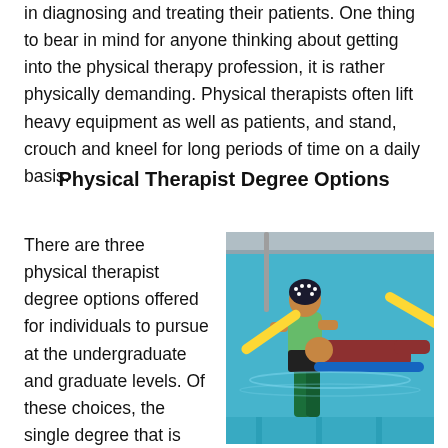in diagnosing and treating their patients. One thing to bear in mind for anyone thinking about getting into the physical therapy profession, it is rather physically demanding. Physical therapists often lift heavy equipment as well as patients, and stand, crouch and kneel for long periods of time on a daily basis.
Physical Therapist Degree Options
There are three physical therapist degree options offered for individuals to pursue at the undergraduate and graduate levels. Of these choices, the single degree that is available that qualifies
[Figure (photo): A physical therapist in a swimming pool assisting a patient with aquatic therapy, using colorful pool noodles.]